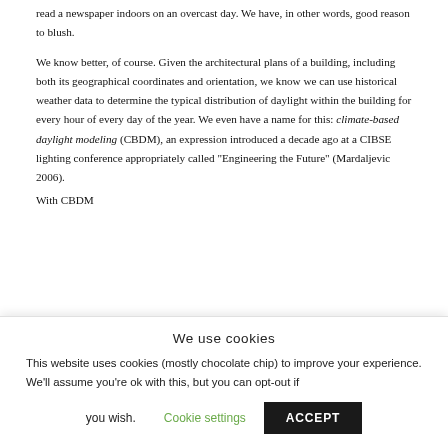read a newspaper indoors on an overcast day. We have, in other words, good reason to blush.
We know better, of course. Given the architectural plans of a building, including both its geographical coordinates and orientation, we know we can use historical weather data to determine the typical distribution of daylight within the building for every hour of every day of the year. We even have a name for this: climate-based daylight modeling (CBDM), an expression introduced a decade ago at a CIBSE lighting conference appropriately called "Engineering the Future" (Mardaljevic 2006).
With CBDM...
We use cookies
This website uses cookies (mostly chocolate chip) to improve your experience. We'll assume you're ok with this, but you can opt-out if you wish.